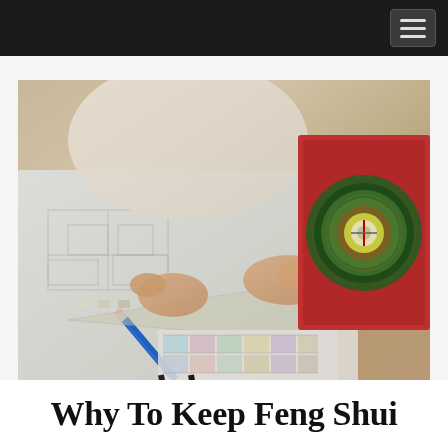[Navigation bar with hamburger menu]
[Figure (photo): A person holding a blue pencil and drawing on architectural blueprints/floor plans spread on a table, with a traditional Chinese feng shui compass (luopan) on a red board visible in the upper right corner, and additional pencils and a colored grid chart visible on the table.]
Why To Keep Feng Shui